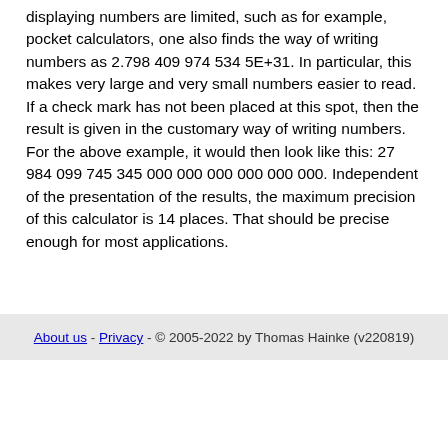displaying numbers are limited, such as for example, pocket calculators, one also finds the way of writing numbers as 2.798 409 974 534 5E+31. In particular, this makes very large and very small numbers easier to read. If a check mark has not been placed at this spot, then the result is given in the customary way of writing numbers. For the above example, it would then look like this: 27 984 099 745 345 000 000 000 000 000 000. Independent of the presentation of the results, the maximum precision of this calculator is 14 places. That should be precise enough for most applications.
About us - Privacy - © 2005-2022 by Thomas Hainke (v220819)